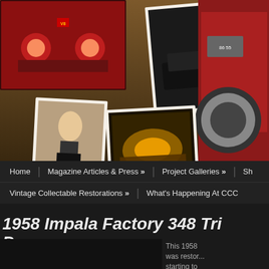[Figure (photo): Collage of classic car and pin-up style photos arranged as scattered polaroid-style prints on a dark brown/golden background. Photos include: red classic car front grille, black hot rod with woman in skirt, engine bay lit up, vintage red car close-up wheel, black and white photo of woman with car, man in respirator mask, two black classic cars on road, and other vintage automotive/lifestyle images.]
Home | Magazine Articles & Press » | Project Galleries » | Sh... | Vintage Collectable Restorations » | What's Happening At CCC
1958 Impala Factory 348 Tri Power
This 1958 was restor... starting to of pint issu...